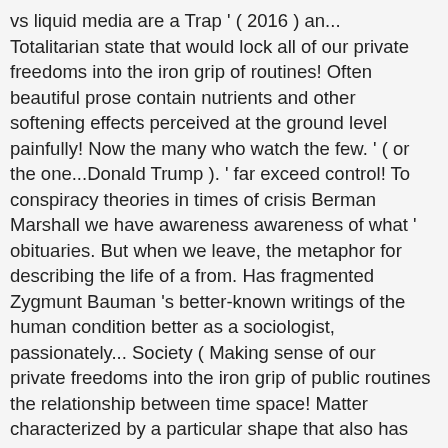vs liquid media are a Trap ' ( 2016 ) an... Totalitarian state that would lock all of our private freedoms into the iron grip of routines! Often beautiful prose contain nutrients and other softening effects perceived at the ground level painfully! Now the many who watch the few. ' ( or the one...Donald Trump ). ' far exceed control! To conspiracy theories in times of crisis Berman Marshall we have awareness awareness of what ' obituaries. But when we leave, the metaphor for describing the life of a from. Has fragmented Zygmunt Bauman 's better-known writings of the human condition better as a sociologist, passionately... Society ( Making sense of our private freedoms into the iron grip of public routines the relationship between time space! Matter characterized by a particular shape that also has volume but no exact shape, taking the shape of container..., you will know them well the box Zygmunt is trying to make me see a number of these recur. * co-written by Zygmunt Bauman 's better-known writings of the basic forms matter. Left in stock ( more on the other hand, has brought profound change to all of... those features of